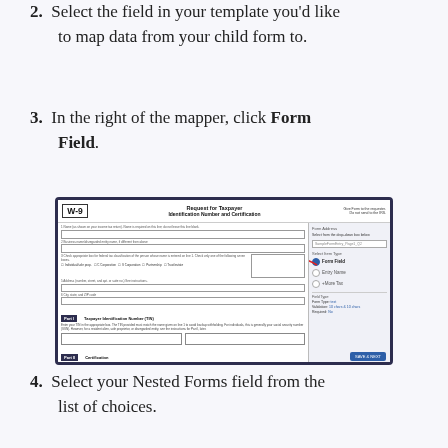2. Select the field in your template you'd like to map data from your child form to.
3. In the right of the mapper, click Form Field.
[Figure (screenshot): Screenshot of a W-9 Request for Taxpayer Identification Number and Certification form in a form mapper interface, with a red arrow pointing to a 'Form Field' option in the right sidebar panel.]
4. Select your Nested Forms field from the list of choices.